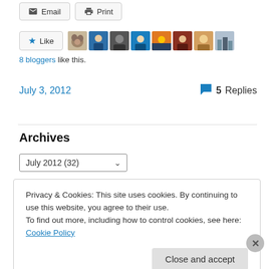Email  Print (buttons)
[Figure (screenshot): Like button with star icon, followed by 8 avatar thumbnail images of bloggers]
8 bloggers like this.
July 3, 2012   💬 5 Replies
Archives
July 2012  (32) dropdown
Privacy & Cookies: This site uses cookies. By continuing to use this website, you agree to their use.
To find out more, including how to control cookies, see here: Cookie Policy
Close and accept